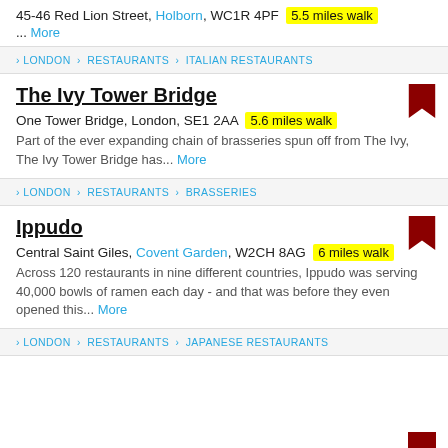45-46 Red Lion Street, Holborn, WC1R 4PF  5.5 miles walk
... More
LONDON > RESTAURANTS > ITALIAN RESTAURANTS
The Ivy Tower Bridge
One Tower Bridge, London, SE1 2AA  5.6 miles walk
Part of the ever expanding chain of brasseries spun off from The Ivy, The Ivy Tower Bridge has... More
LONDON > RESTAURANTS > BRASSERIES
Ippudo
Central Saint Giles, Covent Garden, W2CH 8AG  6 miles walk
Across 120 restaurants in nine different countries, Ippudo was serving 40,000 bowls of ramen each day - and that was before they even opened this... More
LONDON > RESTAURANTS > JAPANESE RESTAURANTS